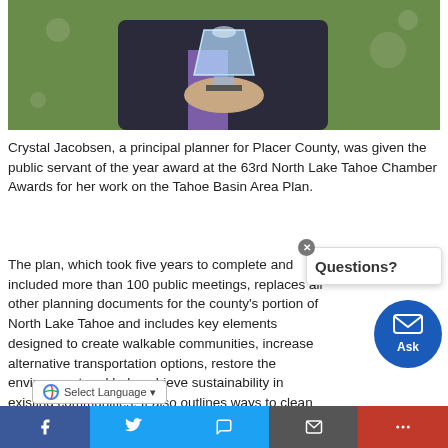[Figure (photo): Person holding a glass crystal trophy award, wearing a dark blazer, outdoors with green background]
Crystal Jacobsen, a principal planner for Placer County, was given the public servant of the year award at the 63rd North Lake Tahoe Chamber Awards for her work on the Tahoe Basin Area Plan.
The plan, which took five years to complete and included more than 100 public meetings, replaces all other planning documents for the county's portion of North Lake Tahoe and includes key elements designed to create walkable communities, increase alternative transportation options, restore the environment and help achieve sustainability in existing communities. It also outlines ways to clean up blight, restore environmentally sensitive lands, enhance recreation opportunities and improve transportation options